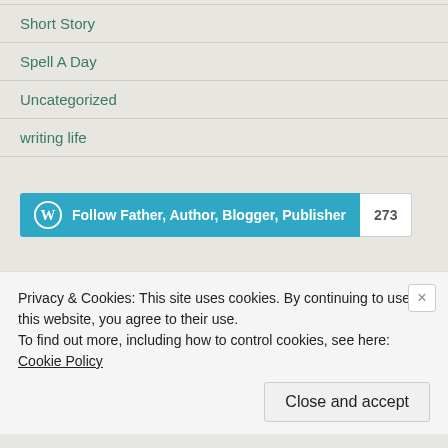Short Story
Spell A Day
Uncategorized
writing life
[Figure (other): WordPress Follow button for 'Father, Author, Blogger, Publisher' with follower count 273]
Author Page
Privacy & Cookies: This site uses cookies. By continuing to use this website, you agree to their use.
To find out more, including how to control cookies, see here: Cookie Policy
Close and accept